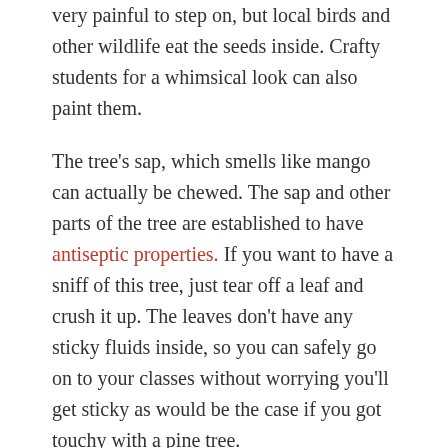very painful to step on, but local birds and other wildlife eat the seeds inside. Crafty students for a whimsical look can also paint them.
The tree's sap, which smells like mango can actually be chewed. The sap and other parts of the tree are established to have antiseptic properties. If you want to have a sniff of this tree, just tear off a leaf and crush it up. The leaves don't have any sticky fluids inside, so you can safely go on to your classes without worrying you'll get sticky as would be the case if you got touchy with a pine tree.
There is a well-established sweet gum inside of the alcove of Farmer School of Business. Along the border of Cook Field, there are young sweet gums with curious, toothless leaves that look more like flowers than stars. They are a